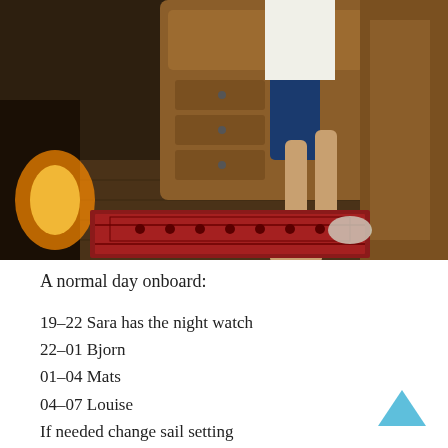[Figure (photo): A person sitting aboard a boat interior with wooden cabinetry, bare feet on a decorative red rug on a wooden floor, wearing blue shorts and blue top.]
A normal day onboard:
19-22 Sara has the night watch
22-01 Bjorn
01-04 Mats
04-07 Louise
If needed change sail setting